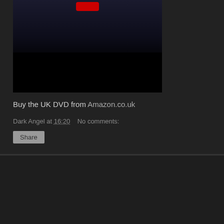[Figure (photo): Dark sci-fi/horror image with a figure partially visible and a red element at top, dark background with black bar at bottom]
Buy the UK DVD from Amazon.co.uk
Dark Angel at 16:20   No comments:
Share
Vampire show "Ultraviolet" comes to UK DVD.
[Figure (photo): Group photo of four people (cast of Ultraviolet TV show) standing in front of a background with circular patterns]